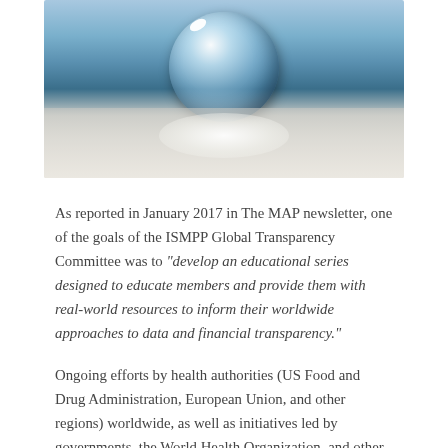[Figure (photo): Close-up photograph of a transparent glass or ice sphere resting on frost-covered ground, with a blue sky background. The sphere has a bright light reflection at the top.]
As reported in January 2017 in The MAP newsletter, one of the goals of the ISMPP Global Transparency Committee was to “develop an educational series designed to educate members and provide them with real-world resources to inform their worldwide approaches to data and financial transparency.”
Ongoing efforts by health authorities (US Food and Drug Administration, European Union, and other regions) worldwide, as well as initiatives led by governments, the World Health Organization, and other global organizations, have resulted in additional regulations and calls for transparency